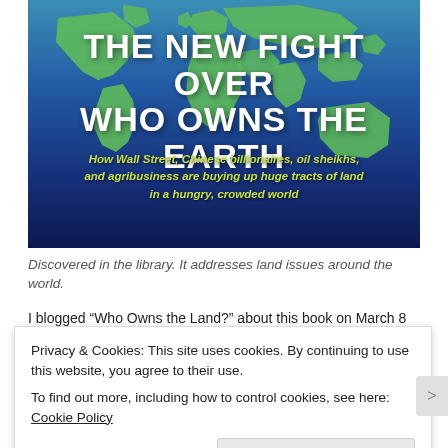[Figure (illustration): Book cover showing a world map with green continents on a blue ocean background. Title reads 'THE NEW FIGHT OVER WHO OWNS THE EARTH' in large white bold uppercase text. Subtitle in yellow-green italic text: 'How Wall Street, Chinese billionaires, oil sheikhs, and agribusiness are buying up huge tracts of land in a hungry, crowded world'.]
Discovered in the library. It addresses land issues around the world.
I blogged “Who Owns the Land?” about this book on March 8
Privacy & Cookies: This site uses cookies. By continuing to use this website, you agree to their use.
To find out more, including how to control cookies, see here: Cookie Policy